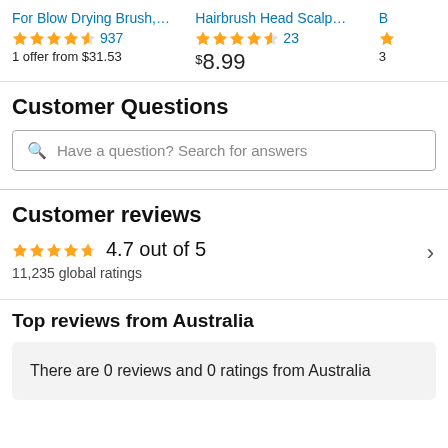For Blow Drying Brush,... — 4.5 stars, 937 reviews, 1 offer from $31.53
Hairbrush Head Scalp... — 4.5 stars, 23 reviews, $8.99
B... — 3...
Customer Questions
Have a question? Search for answers
Customer reviews
4.7 out of 5
11,235 global ratings
Top reviews from Australia
There are 0 reviews and 0 ratings from Australia